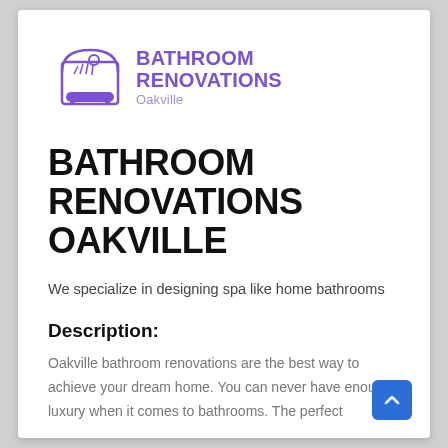[Figure (logo): Bathroom Renovations Oakville logo: purple arch/bathtub icon on left, bold purple text 'BATHROOM RENOVATIONS' with lighter purple 'Oakville' subtitle on right]
BATHROOM RENOVATIONS OAKVILLE
We specialize in designing spa like home bathrooms
Description:
Oakville bathroom renovations are the best way to achieve your dream home. You can never have enough luxury when it comes to bathrooms. The perfect